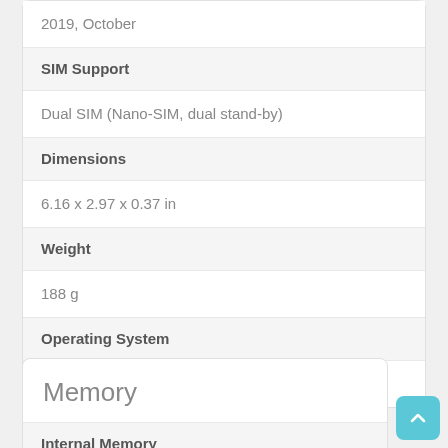2019, October
SIM Support
Dual SIM (Nano-SIM, dual stand-by)
Dimensions
6.16 x 2.97 x 0.37 in
Weight
188 g
Operating System
Android 9.0 (Pie); MIUI 11
Memory
Internal Memory